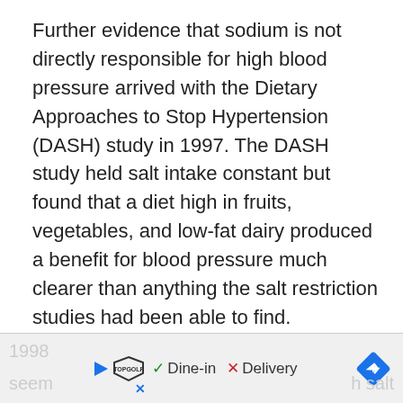Further evidence that sodium is not directly responsible for high blood pressure arrived with the Dietary Approaches to Stop Hypertension (DASH) study in 1997. The DASH study held salt intake constant but found that a diet high in fruits, vegetables, and low-fat dairy produced a benefit for blood pressure much clearer than anything the salt restriction studies had been able to find.
In a more recent article in the New York Times, Taubes surveys the research since 1998